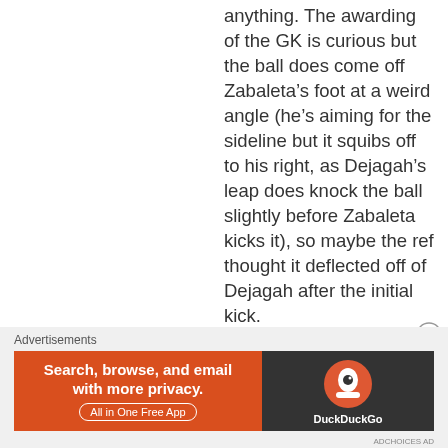anything. The awarding of the GK is curious but the ball does come off Zabaleta’s foot at a weird angle (he’s aiming for the sideline but it squibs off to his right, as Dejagah’s leap does knock the ball slightly before Zabaleta kicks it), so maybe the ref thought it deflected off of Dejagah after the initial kick.
Advertisements
[Figure (other): DuckDuckGo advertisement banner with orange left panel reading 'Search, browse, and email with more privacy. All in One Free App' and dark right panel with DuckDuckGo logo.]